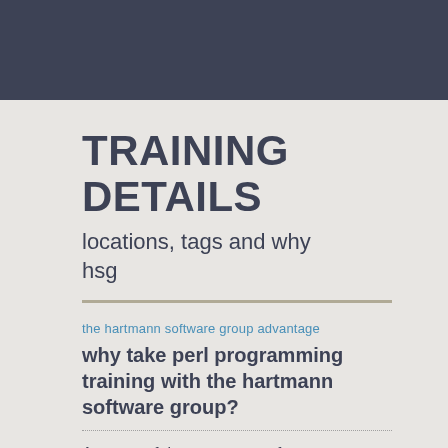[Figure (other): Dark blue-grey header bar spanning full width of page]
TRAINING DETAILS
locations, tags and why hsg
the hartmann software group advantage
why take perl programming training with the hartmann software group?
A successful career as a software